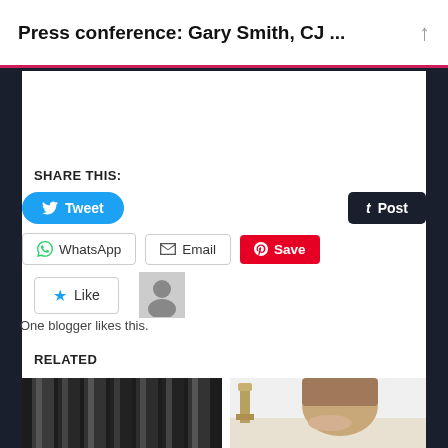Press conference: Gary Smith, CJ ...
SHARE THIS:
[Figure (screenshot): Social share buttons: Tweet (Twitter/blue), Post (Tumblr/dark navy), WhatsApp, Email, Save (Pinterest/red)]
[Figure (screenshot): Like button with star icon and a blogger avatar thumbnail. Text: One blogger likes this.]
One blogger likes this.
RELATED
[Figure (photo): Two related article thumbnail images side by side — left shows dark metallic cylinders/tubes, right shows a man looking at a trophy or cup]